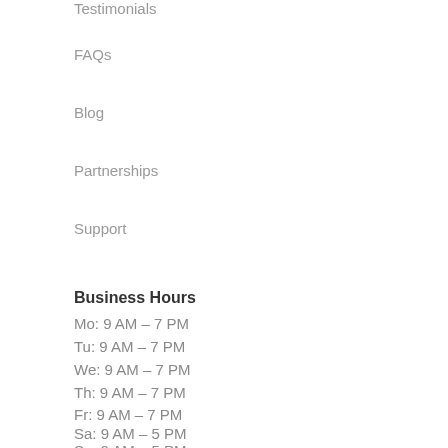Testimonials
FAQs
Blog
Partnerships
Support
Business Hours
Mo: 9 AM – 7 PM
Tu: 9 AM – 7 PM
We: 9 AM – 7 PM
Th: 9 AM – 7 PM
Fr: 9 AM – 7 PM
Sa: 9 AM – 5 PM
Su: 9 AM – 5 PM